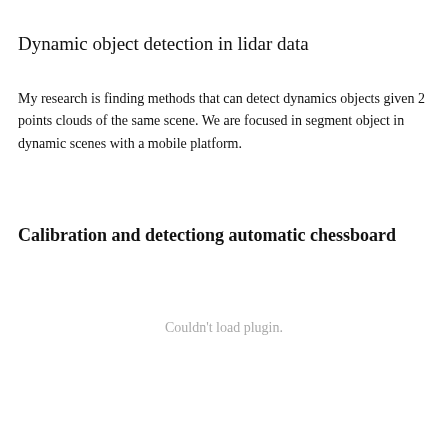Dynamic object detection in lidar data
My research is finding methods that can detect dynamics objects given 2 points clouds of the same scene. We are focused in segment object in dynamic scenes with a mobile platform.
Calibration and detectiong automatic chessboard
Couldn't load plugin.